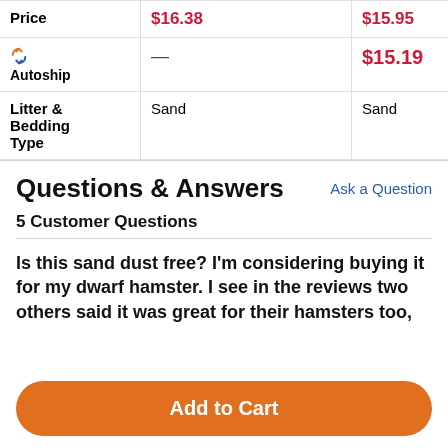|  | Col1 | Col2 | Col3 |
| --- | --- | --- | --- |
| Price | $16.38 | $15.95 | $1... |
| Autoship | — | $15.19 | $1... |
| Litter & Bedding Type | Sand | Sand | Sa... |
Questions & Answers
Ask a Question
5 Customer Questions
Is this sand dust free? I'm considering buying it for my dwarf hamster. I see in the reviews two others said it was great for their hamsters too,
Add to Cart